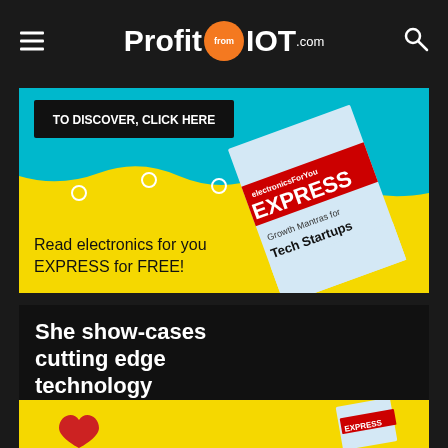ProfitfromIOT.com
[Figure (screenshot): Advertisement banner for Electronics For You EXPRESS magazine with cyan/yellow background, a 'TO DISCOVER, CLICK HERE' button, and a magazine cover showing 'Growth Mantras for Tech Startups'. Text reads 'Read electronics for you EXPRESS for FREE!']
[Figure (screenshot): Black advertisement card with white bold text: 'She show-cases cutting edge technology that can change the game']
[Figure (screenshot): Yellow advertisement banner with a red heart graphic and Electronics For You EXPRESS magazine cover]